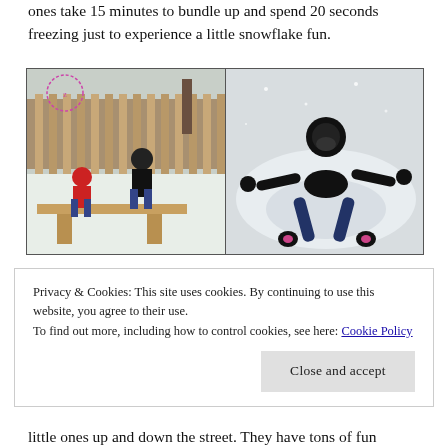ones take 15 minutes to bundle up and spend 20 seconds freezing just to experience a little snowflake fun.
[Figure (photo): Two side-by-side winter photos: left shows children playing in snow near a picnic table with a wooden fence in background; right shows a child lying in snow making a snow angel, wearing black winter gear.]
Privacy & Cookies: This site uses cookies. By continuing to use this website, you agree to their use.
To find out more, including how to control cookies, see here: Cookie Policy
[Close and accept button]
little ones up and down the street. They have tons of fun